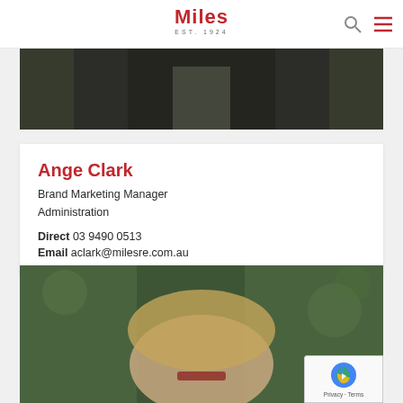Miles EST. 1924
[Figure (photo): Cropped photo of a person in dark jacket against green foliage background]
Ange Clark
Brand Marketing Manager
Administration
Direct 03 9490 0513
Email aclark@milesre.com.au
[Figure (photo): Photo of a woman with blonde hair and red glasses, green foliage background]